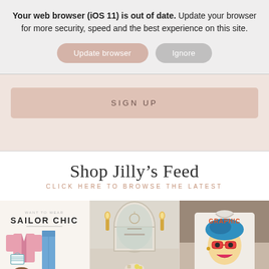Your web browser (iOS 11) is out of date. Update your browser for more security, speed and the best experience on this site.
[Figure (screenshot): Two buttons: 'Update browser' (pink/mauve rounded pill) and 'Ignore' (grey rounded pill)]
[Figure (screenshot): Pink/rose beige banner with 'SIGN UP' button in uppercase letterspaced text]
Shop Jilly's Feed
CLICK HERE TO BROWSE THE LATEST
[Figure (photo): Fashion flat lay collage labelled 'SAILOR CHIC' with pink cardigan, striped bag, blue jeans, and brown loafers on white background]
[Figure (photo): Interior photo of a vintage-style vanity mirror with gold wall sconces and decorative items on a small table]
[Figure (photo): Close-up of a white graphic tee with colorful cartoon-style face artwork]